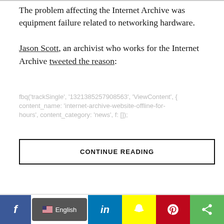The problem affecting the Internet Archive was equipment failure related to networking hardware.

Jason Scott, an archivist who works for the Internet Archive tweeted the reason:
fbq('trackSingle', '1321385257908563', 'ViewContent', { content_name: 'internet-archive-website-offline-for-hours', content_category: 'news', f: []);
CONTINUE READING
f  English  in  [snapchat]  [pinterest]  [share]